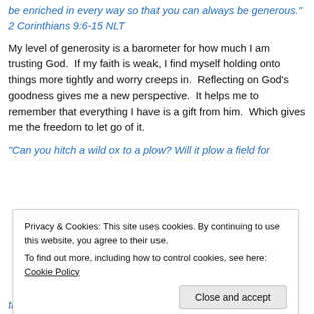be enriched in every way so that you can always be generous." 2 Corinthians 9:6-15 NLT
My level of generosity is a barometer for how much I am trusting God.  If my faith is weak, I find myself holding onto things more tightly and worry creeps in.  Reflecting on God's goodness gives me a new perspective.  It helps me to remember that everything I have is a gift from him.  Which gives me the freedom to let go of it.
“Can you hitch a wild ox to a plow? Will it plow a field for
Privacy & Cookies: This site uses cookies. By continuing to use this website, you agree to their use.
To find out more, including how to control cookies, see here: Cookie Policy
that the eagle rises to the heights to make its nest?"  Job